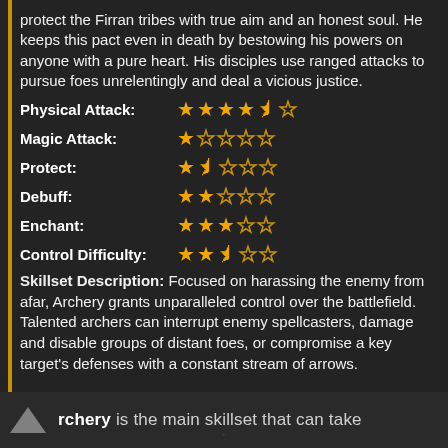protect the Firran tribes with true aim and an honest soul. He keeps this pact even in death by bestowing his powers on anyone with a pure heart. His disciples use ranged attacks to pursue foes unrelentingly and deal a vicious justice.
Physical Attack: ★★★★½☆
Magic Attack: ★☆☆☆☆
Protect: ★★☆☆☆
Debuff: ★★☆☆☆
Enchant: ★★★☆☆
Control Difficulty: ★★½☆☆
Skillset Description: Focused on harassing the enemy from afar, Archery grants unparalleled control over the battlefield. Talented archers can interrupt enemy spellcasters, damage and disable groups of distant foes, or compromise a key target's defenses with a constant stream of arrows.
rchery is the main skillset that can take